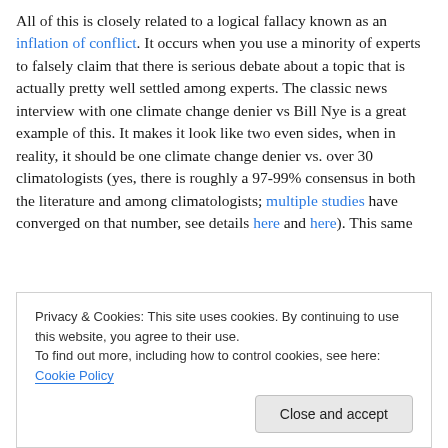All of this is closely related to a logical fallacy known as an inflation of conflict. It occurs when you use a minority of experts to falsely claim that there is serious debate about a topic that is actually pretty well settled among experts. The classic news interview with one climate change denier vs Bill Nye is a great example of this. It makes it look like two even sides, when in reality, it should be one climate change denier vs. over 30 climatologists (yes, there is roughly a 97-99% consensus in both the literature and among climatologists; multiple studies have converged on that number, see details here and here). This same
Privacy & Cookies: This site uses cookies. By continuing to use this website, you agree to their use. To find out more, including how to control cookies, see here: Cookie Policy